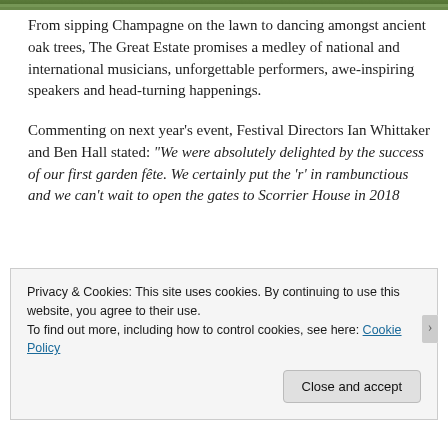[Figure (photo): Partial green outdoor/garden photo strip at the top of the page]
From sipping Champagne on the lawn to dancing amongst ancient oak trees, The Great Estate promises a medley of national and international musicians, unforgettable performers, awe-inspiring speakers and head-turning happenings.
Commenting on next year’s event, Festival Directors Ian Whittaker and Ben Hall stated: “We were absolutely delighted by the success of our first garden fête. We certainly put the ‘r’ in rambunctious and we can’t wait to open the gates to Scorrier House in 2018
Privacy & Cookies: This site uses cookies. By continuing to use this website, you agree to their use.
To find out more, including how to control cookies, see here: Cookie Policy
Close and accept